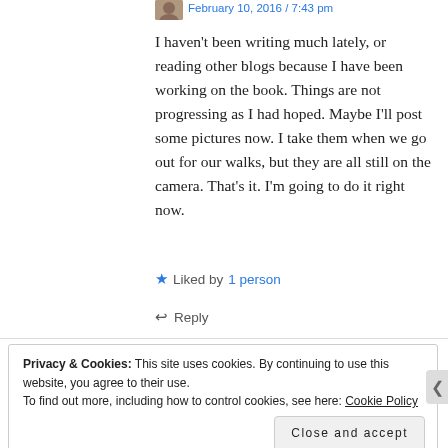February 10, 2016 / 7:43 pm
I haven't been writing much lately, or reading other blogs because I have been working on the book. Things are not progressing as I had hoped. Maybe I'll post some pictures now. I take them when we go out for our walks, but they are all still on the camera. That's it. I'm going to do it right now.
★ Liked by 1 person
↩ Reply
Privacy & Cookies: This site uses cookies. By continuing to use this website, you agree to their use.
To find out more, including how to control cookies, see here: Cookie Policy

Close and accept